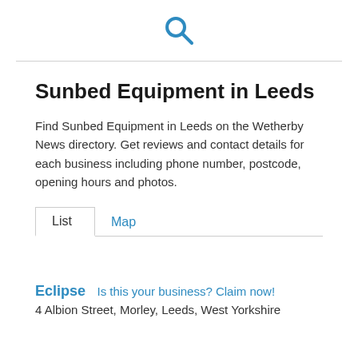[Figure (other): Blue search magnifying glass icon]
Sunbed Equipment in Leeds
Find Sunbed Equipment in Leeds on the Wetherby News directory. Get reviews and contact details for each business including phone number, postcode, opening hours and photos.
List  Map
Eclipse  Is this your business? Claim now!
4 Albion Street, Morley, Leeds, West Yorkshire